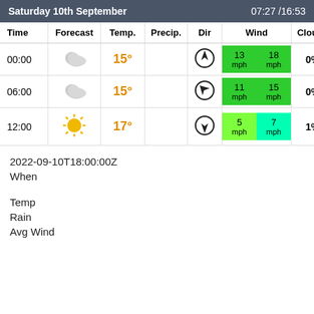Saturday 10th September   07:27 /16:53
| Time | Forecast | Temp. | Precip. | Dir | Wind | Clouds |
| --- | --- | --- | --- | --- | --- | --- |
| 00:00 | [cloud icon] | 15° |  | [NNE arrow] | 13 mph / 18 mph | 0% |
| 06:00 | [cloud icon] | 15° |  | [NW arrow] | 11 mph / 15 mph | 0% |
| 12:00 | [sun icon] | 17° |  | [S arrow] | 5 mph / 7 mph | 1% |
2022-09-10T18:00:00Z
When
Temp
Rain
Avg Wind